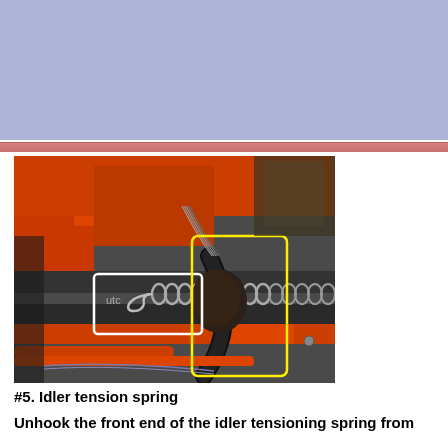[Figure (photo): Photograph showing the idler tension spring area of a chainsaw or similar machinery. The image shows orange metal body parts, a large coiled metal spring, wiring harness, and black cable/hose. A white rectangle highlights the front hook end of the spring on the left, and a yellow rectangle highlights the center/idler pulley attachment area.]
#5. Idler tension spring
Unhook the front end of the idler tensioning spring from